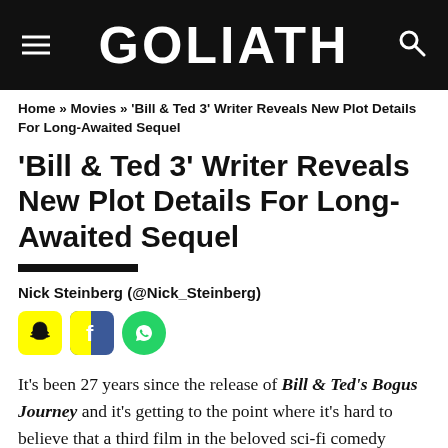GOLIATH
Home » Movies » 'Bill & Ted 3' Writer Reveals New Plot Details For Long-Awaited Sequel
'Bill & Ted 3' Writer Reveals New Plot Details For Long-Awaited Sequel
Nick Steinberg (@Nick_Steinberg)
[Figure (other): Social sharing icons: Snapchat (yellow), Facebook (blue), WhatsApp (green)]
It's been 27 years since the release of Bill & Ted's Bogus Journey and it's getting to the point where it's hard to believe that a third film in the beloved sci-fi comedy series will ever see the light of day. Believe it or not